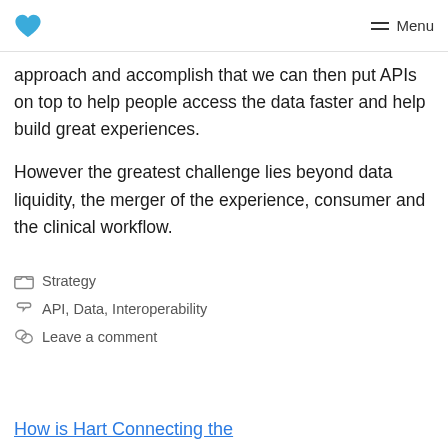Menu
approach and accomplish that we can then put APIs on top to help people access the data faster and help build great experiences.
However the greatest challenge lies beyond data liquidity, the merger of the experience, consumer and the clinical workflow.
Strategy
API, Data, Interoperability
Leave a comment
How is Hart Connecting the